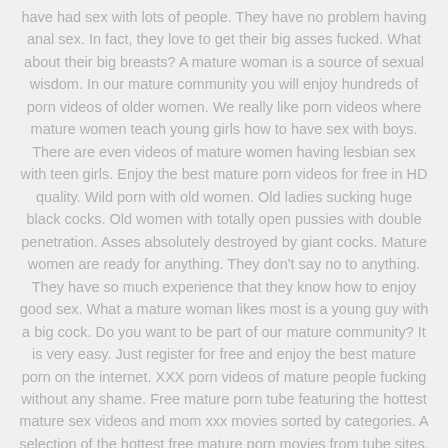have had sex with lots of people. They have no problem having anal sex. In fact, they love to get their big asses fucked. What about their big breasts? A mature woman is a source of sexual wisdom. In our mature community you will enjoy hundreds of porn videos of older women. We really like porn videos where mature women teach young girls how to have sex with boys. There are even videos of mature women having lesbian sex with teen girls. Enjoy the best mature porn videos for free in HD quality. Wild porn with old women. Old ladies sucking huge black cocks. Old women with totally open pussies with double penetration. Asses absolutely destroyed by giant cocks. Mature women are ready for anything. They don't say no to anything. They have so much experience that they know how to enjoy good sex. What a mature woman likes most is a young guy with a big cock. Do you want to be part of our mature community? It is very easy. Just register for free and enjoy the best mature porn on the internet. XXX porn videos of mature people fucking without any shame. Free mature porn tube featuring the hottest mature sex videos and mom xxx movies sorted by categories. A selection of the hottest free mature porn movies from tube sites. We are the largest Mature tube. Amazing mature porn bitches that will blow your mind for sure. Meet these hot moms and MILFS that need to get their fuck holes checked. Watch top rated MATURE porn tube movies for FREE. Watch porn with experienced Mature women in HD. Come in and